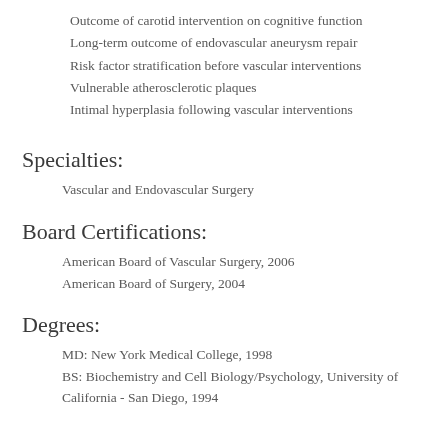Outcome of carotid intervention on cognitive function
Long-term outcome of endovascular aneurysm repair
Risk factor stratification before vascular interventions
Vulnerable atherosclerotic plaques
Intimal hyperplasia following vascular interventions
Specialties:
Vascular and Endovascular Surgery
Board Certifications:
American Board of Vascular Surgery, 2006
American Board of Surgery, 2004
Degrees:
MD: New York Medical College, 1998
BS: Biochemistry and Cell Biology/Psychology, University of California - San Diego, 1994